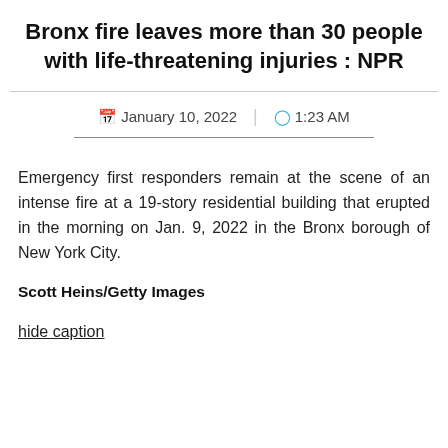Bronx fire leaves more than 30 people with life-threatening injuries : NPR
January 10, 2022   1:23 AM
Emergency first responders remain at the scene of an intense fire at a 19-story residential building that erupted in the morning on Jan. 9, 2022 in the Bronx borough of New York City.
Scott Heins/Getty Images
hide caption